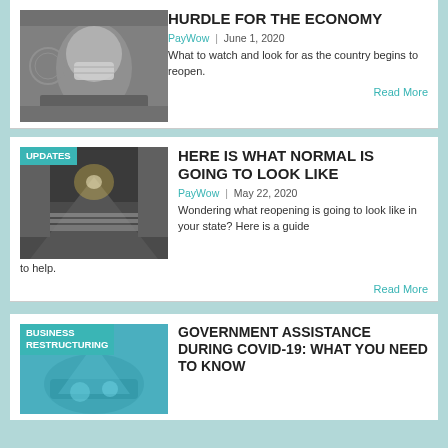[Figure (photo): Photo of a $100 bill with Benjamin Franklin wearing a face mask]
HURDLE FOR THE ECONOMY
PayWow | June 1, 2020
What to watch and look for as the country begins to reopen.
Read More
[Figure (photo): Photo of an empty street with crosswalks, dramatic lighting, with UPDATES badge overlay]
HERE IS WHAT NORMAL IS GOING TO LOOK LIKE
PayWow | May 22, 2020
Wondering what reopening is going to look like in your state? Here is a guide to help.
Read More
[Figure (photo): Image with BUSINESS RESTRUCTURING badge overlay, teal background with abstract graphic]
GOVERNMENT ASSISTANCE DURING COVID-19: WHAT YOU NEED TO KNOW